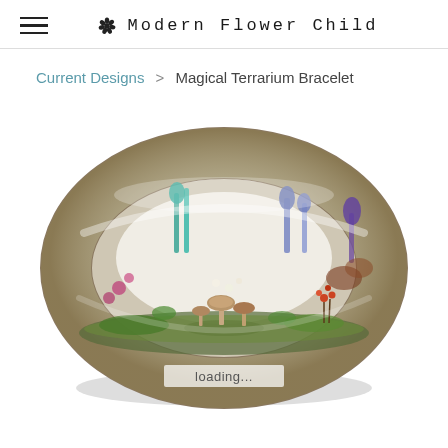Modern Flower Child
Current Designs > Magical Terrarium Bracelet
[Figure (photo): A clear resin bangle bracelet containing miniature terrarium scene with mushrooms, moss, flowers, and tiny plants encased inside, photographed on white background. Text 'loading...' partially visible at bottom of image.]